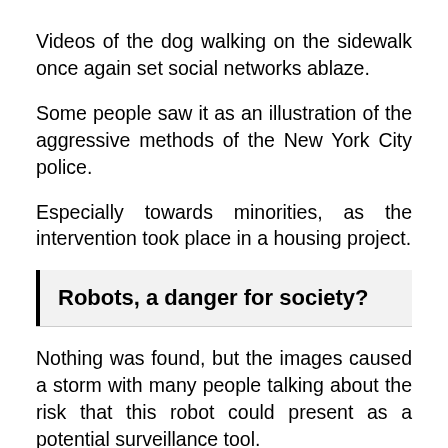Videos of the dog walking on the sidewalk once again set social networks ablaze.
Some people saw it as an illustration of the aggressive methods of the New York City police.
Especially towards minorities, as the intervention took place in a housing project.
Robots, a danger for society?
Nothing was found, but the images caused a storm with many people talking about the risk that this robot could present as a potential surveillance tool.